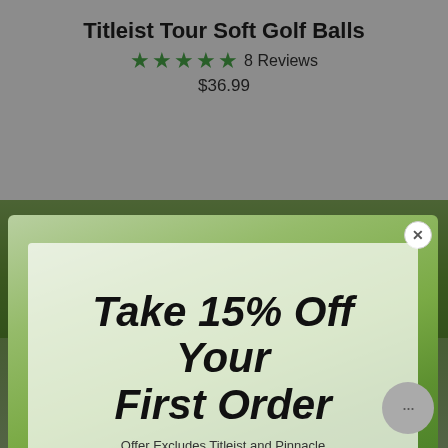Titleist Tour Soft Golf Balls
★★★★★ 8 Reviews
$36.99
[Figure (screenshot): Modal popup over a golf course background showing a 15% off promotion. Contains bold italic text 'Take 15% Off Your First Order', subtext 'Offer Excludes Titleist and Pinnacle', an email address input field, and a green 'SIGN UP' button. A close button (X) is in the upper right corner of the modal.]